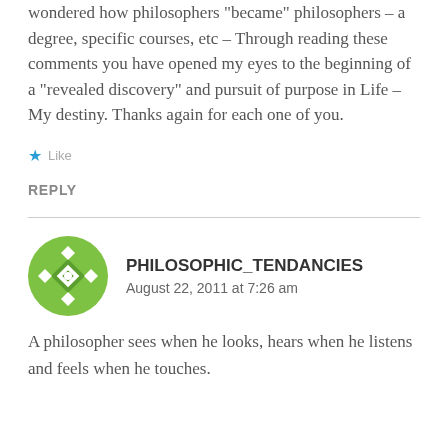wondered how philosophers “became” philosophers – a degree, specific courses, etc – Through reading these comments you have opened my eyes to the beginning of a “revealed discovery” and pursuit of purpose in Life – My destiny. Thanks again for each one of you.
★ Like
REPLY
PHILOSOPHIC_TENDANCIES
August 22, 2011 at 7:26 am
A philosopher sees when he looks, hears when he listens and feels when he touches.